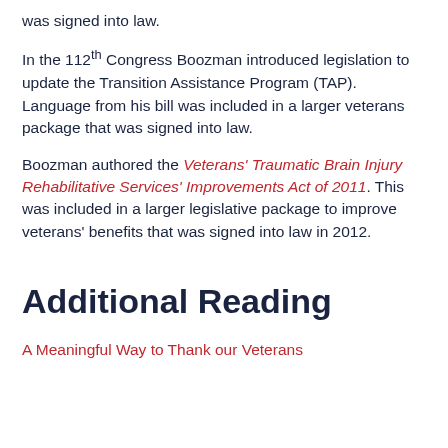was signed into law.
In the 112th Congress Boozman introduced legislation to update the Transition Assistance Program (TAP). Language from his bill was included in a larger veterans package that was signed into law.
Boozman authored the Veterans' Traumatic Brain Injury Rehabilitative Services' Improvements Act of 2011. This was included in a larger legislative package to improve veterans' benefits that was signed into law in 2012.
Additional Reading
A Meaningful Way to Thank our Veterans